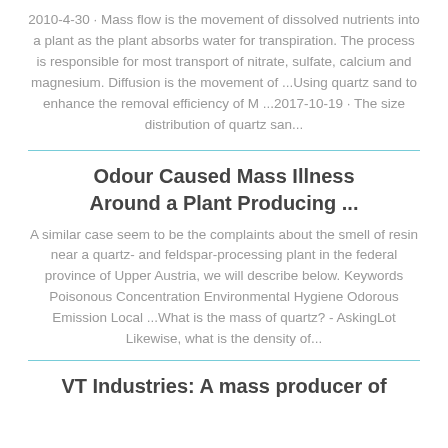2010-4-30 · Mass flow is the movement of dissolved nutrients into a plant as the plant absorbs water for transpiration. The process is responsible for most transport of nitrate, sulfate, calcium and magnesium. Diffusion is the movement of ...Using quartz sand to enhance the removal efficiency of M ...2017-10-19 · The size distribution of quartz san...
Odour Caused Mass Illness Around a Plant Producing ...
A similar case seem to be the complaints about the smell of resin near a quartz- and feldspar-processing plant in the federal province of Upper Austria, we will describe below. Keywords Poisonous Concentration Environmental Hygiene Odorous Emission Local ...What is the mass of quartz? - AskingLot Likewise, what is the density of...
VT Industries: A mass producer of